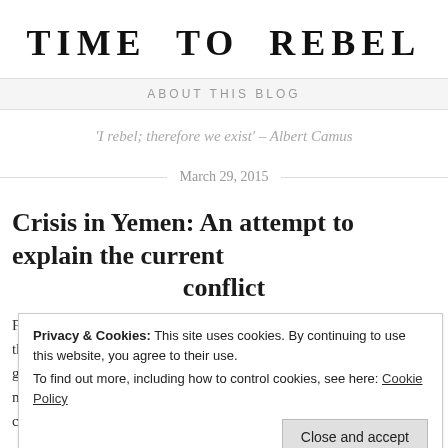TIME TO REBEL
ABOUT THIS BLOG
'I rebel; therefore we exist' – Albert Camus
March 29, 2015
Crisis in Yemen: An attempt to explain the current conflict
Privacy & Cookies: This site uses cookies. By continuing to use this website, you agree to their use.
To find out more, including how to control cookies, see here: Cookie Policy
Close and accept
b... atte... the beginning of this conflict in Yem...